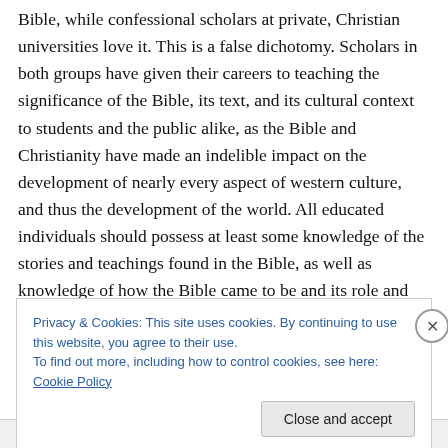Bible, while confessional scholars at private, Christian universities love it. This is a false dichotomy. Scholars in both groups have given their careers to teaching the significance of the Bible, its text, and its cultural context to students and the public alike, as the Bible and Christianity have made an indelible impact on the development of nearly every aspect of western culture, and thus the development of the world. All educated individuals should possess at least some knowledge of the stories and teachings found in the Bible, as well as knowledge of how the Bible came to be and its role and place in society.
Privacy & Cookies: This site uses cookies. By continuing to use this website, you agree to their use.
To find out more, including how to control cookies, see here: Cookie Policy